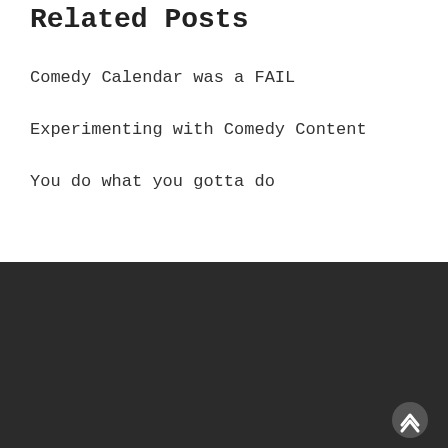Related Posts
Comedy Calendar was a FAIL
Experimenting with Comedy Content
You do what you gotta do
About The Author
[Figure (illustration): Generic user avatar placeholder — grey circle with silhouette of a person]
Queen Elisabeth